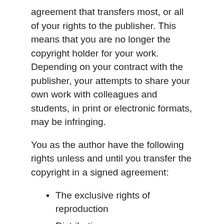agreement that transfers most, or all of your rights to the publisher. This means that you are no longer the copyright holder for your work. Depending on your contract with the publisher, your attempts to share your own work with colleagues and students, in print or electronic formats, may be infringing.
You as the author have the following rights unless and until you transfer the copyright in a signed agreement:
The exclusive rights of reproduction
Distribution
Public performance
Public display
Modification of the original work
Decisions concerning use of the work such as distribution, access, pricing, updates, and any use